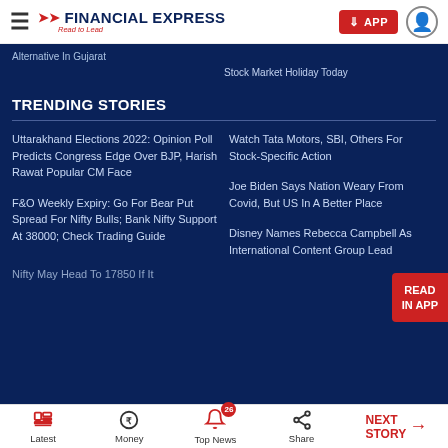FINANCIAL EXPRESS — Read to Lead
Alternative In Gujarat
Stock Market Holiday Today
TRENDING STORIES
Uttarakhand Elections 2022: Opinion Poll Predicts Congress Edge Over BJP, Harish Rawat Popular CM Face
Watch Tata Motors, SBI, Others For Stock-Specific Action
F&O Weekly Expiry: Go For Bear Put Spread For Nifty Bulls; Bank Nifty Support At 38000; Check Trading Guide
Joe Biden Says Nation Weary From Covid, But US In A Better Place
Disney Names Rebecca Campbell As International Content Group Lead
Nifty May Head To 17850 If It
Latest | Money | Top News 26 | Share | NEXT STORY